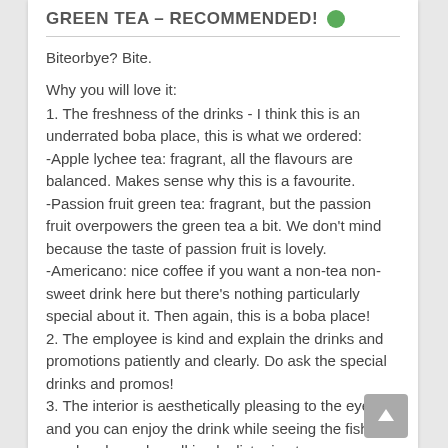GREEN TEA – RECOMMENDED!
Biteorbye? Bite.
Why you will love it:
1. The freshness of the drinks - I think this is an underrated boba place, this is what we ordered: -Apple lychee tea: fragrant, all the flavours are balanced. Makes sense why this is a favourite. -Passion fruit green tea: fragrant, but the passion fruit overpowers the green tea a bit. We don't mind because the taste of passion fruit is lovely. -Americano: nice coffee if you want a non-tea non-sweet drink here but there's nothing particularly special about it. Then again, this is a boba place!
2. The employee is kind and explain the drinks and promotions patiently and clearly. Do ask the special drinks and promos!
3. The interior is aesthetically pleasing to the eyes and you can enjoy the drink while seeing the fish pond and people walking by listening to